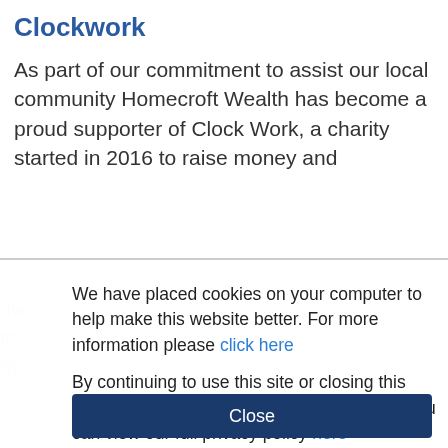Clockwork
As part of our commitment to assist our local community Homecroft Wealth has become a proud supporter of Clock Work, a charity started in 2016 to raise money and awareness, helping young adults in the community look to improve their lives
We have placed cookies on your computer to help make this website better. For more information please click here
By continuing to use this site or closing this panel, we'll assume you're OK to continue. You can view our full privacy policy here
Close